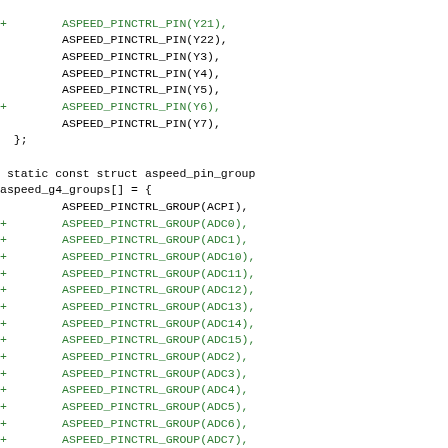Code diff showing ASPEED_PINCTRL_PIN and ASPEED_PINCTRL_GROUP entries for aspeed_g4_groups array